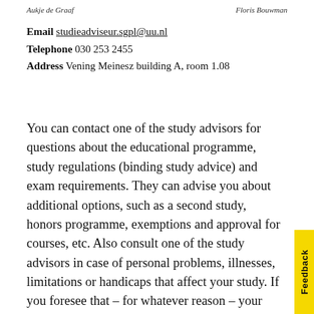Aukje de Graaf    Floris Bouwman
Email studieadviseur.sgpl@uu.nl
Telephone 030 253 2455
Address Vening Meinesz building A, room 1.08
You can contact one of the study advisors for questions about the educational programme, study regulations (binding study advice) and exam requirements. They can advise you about additional options, such as a second study, honors programme, exemptions and approval for courses, etc. Also consult one of the study advisors in case of personal problems, illnesses, limitations or handicaps that affect your study. If you foresee that – for whatever reason – your study will be delayed, please contact us as soon as possible.